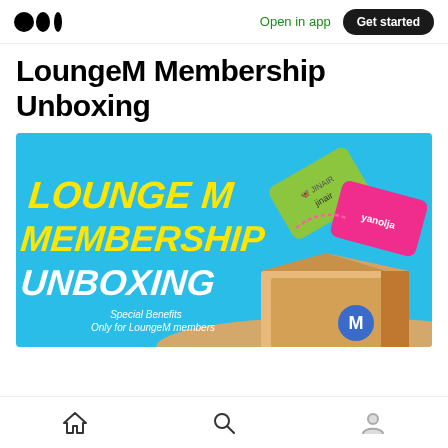Open in app | Get started
LoungeM Membership Unboxing
[Figure (illustration): Promotional banner for LoungeM Membership Unboxing with yellow bold text 'LOUNGE M MEMBERSHIP UNBOXING' on a blue background. Cards for Jinair and Yanolja are shown flying out of an open cardboard box. Text reads 'Special Benefits Only for LoungeM members'.]
Home | Search | Profile